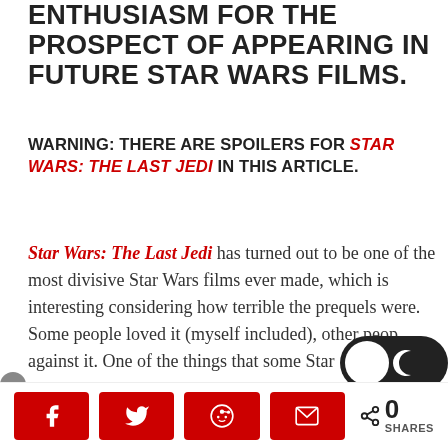AND HE REVEALED THAT HE LOST ENTHUSIASM FOR THE PROSPECT OF APPEARING IN FUTURE STAR WARS FILMS.
WARNING: THERE ARE SPOILERS FOR STAR WARS: THE LAST JEDI IN THIS ARTICLE.
Star Wars: The Last Jedi has turned out to be one of the most divisive Star Wars films ever made, which is interesting considering how terrible the prequels were. Some people loved it (myself included), other people against it. One of the things that some Star
[Figure (other): Dark mode toggle switch overlay (white circle on dark background with moon icon)]
Social share bar with Facebook, Twitter, Reddit, Email buttons and 0 SHARES count